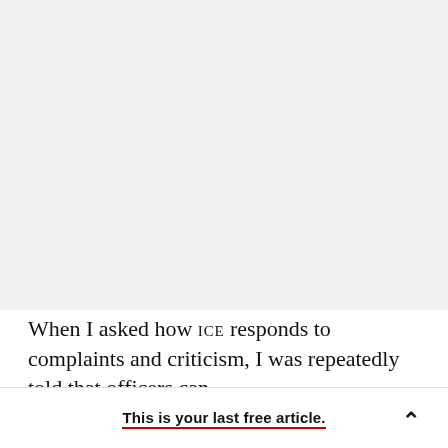ADVERTISEMENT
When I asked how ICE responds to complaints and criticism, I was repeatedly told that officers can
This is your last free article.